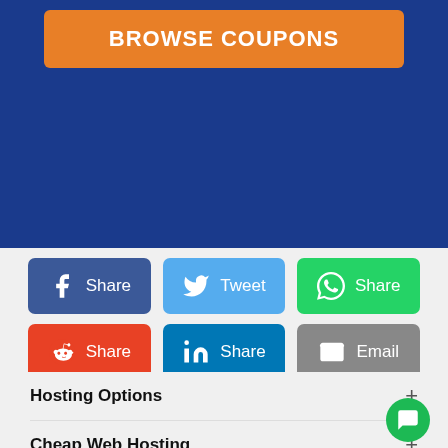BROWSE COUPONS
[Figure (infographic): Social share buttons: Facebook Share, Tweet, WhatsApp Share, Reddit Share, LinkedIn Share, Email]
Hosting Options +
Cheap Web Hosting +
Discover +
Members/Web Hosting Company Follow Us +